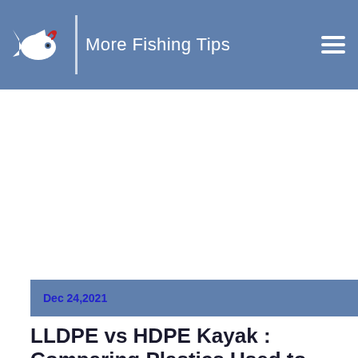More Fishing Tips
[Figure (other): Advertisement / blank white area below header]
Dec 24,2021
LLDPE vs HDPE Kayak : Comparing Plastics Used to Make 'Yaks